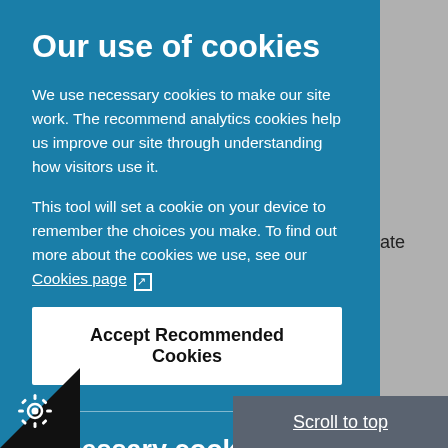Our use of cookies
We use necessary cookies to make our site work. The recommend analytics cookies help us improve our site through understanding how visitors use it.
This tool will set a cookie on your device to remember the choices you make. To find out more about the cookies we use, see our Cookies page
Accept Recommended Cookies
Necessary cookies
hese enable core functions such as sec ork management. You may disable those in your settings, but this may affect how the website